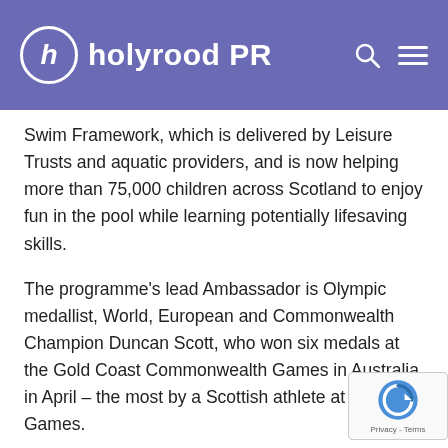holyrood PR
Swim Framework, which is delivered by Leisure Trusts and aquatic providers, and is now helping more than 75,000 children across Scotland to enjoy fun in the pool while learning potentially lifesaving skills.
The programme's lead Ambassador is Olympic medallist, World, European and Commonwealth Champion Duncan Scott, who won six medals at the Gold Coast Commonwealth Games in Australia in April – the most by a Scottish athlete at a single Games.
Scottish Swimming's announcement follows on a commitment from the Fairmont Hotel in St Andrews, which agreed to remove all disposable bottles in guest rooms, replacing them with refillable